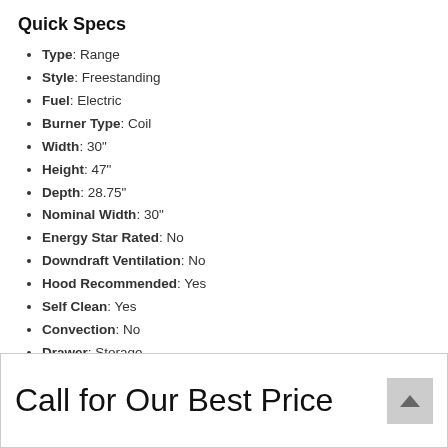Quick Specs
Type: Range
Style: Freestanding
Fuel: Electric
Burner Type: Coil
Width: 30"
Height: 47"
Depth: 28.75"
Nominal Width: 30"
Energy Star Rated: No
Downdraft Ventilation: No
Hood Recommended: Yes
Self Clean: Yes
Convection: No
Drawer: Storage
First Oven: 5.0 cu. ft.
Hidden Bake Element: No
Sabbath Mode: Yes
WiFi Connected: No
See More
Call for Our Best Price